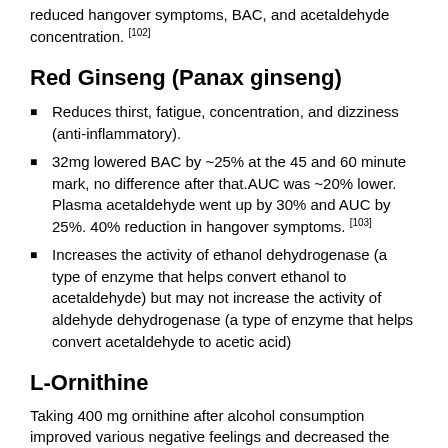reduced hangover symptoms, BAC, and acetaldehyde concentration. [102]
Red Ginseng (Panax ginseng)
Reduces thirst, fatigue, concentration, and dizziness (anti-inflammatory).
32mg lowered BAC by ~25% at the 45 and 60 minute mark, no difference after that.AUC was ~20% lower. Plasma acetaldehyde went up by 30% and AUC by 25%. 40% reduction in hangover symptoms. [103]
Increases the activity of ethanol dehydrogenase (a type of enzyme that helps convert ethanol to acetaldehyde) but may not increase the activity of aldehyde dehydrogenase (a type of enzyme that helps convert acetaldehyde to acetic acid)
L-Ornithine
Taking 400 mg ornithine after alcohol consumption improved various negative feelings and decreased the salivary stress marker cortisol the next morning. These